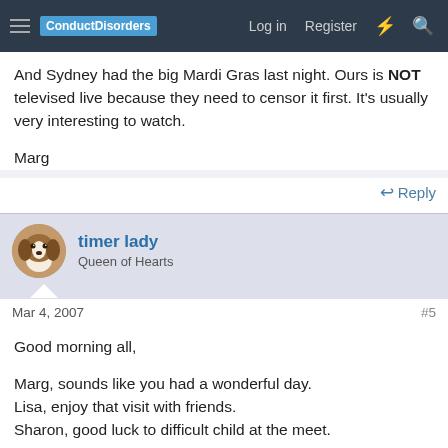ConductDisorders  Log in  Register
And Sydney had the big Mardi Gras last night. Ours is NOT televised live because they need to censor it first. It's usually very interesting to watch.

Marg
Reply
timer lady
Queen of Hearts
Mar 4, 2007  #5
Good morning all,

Marg, sounds like you had a wonderful day.
Lisa, enjoy that visit with friends.
Sharon, good luck to difficult child at the meet.